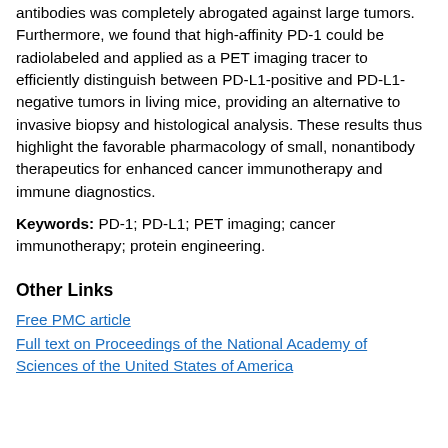antibodies was completely abrogated against large tumors. Furthermore, we found that high-affinity PD-1 could be radiolabeled and applied as a PET imaging tracer to efficiently distinguish between PD-L1-positive and PD-L1-negative tumors in living mice, providing an alternative to invasive biopsy and histological analysis. These results thus highlight the favorable pharmacology of small, nonantibody therapeutics for enhanced cancer immunotherapy and immune diagnostics.
Keywords: PD-1; PD-L1; PET imaging; cancer immunotherapy; protein engineering.
Other Links
Free PMC article
Full text on Proceedings of the National Academy of Sciences of the United States of America